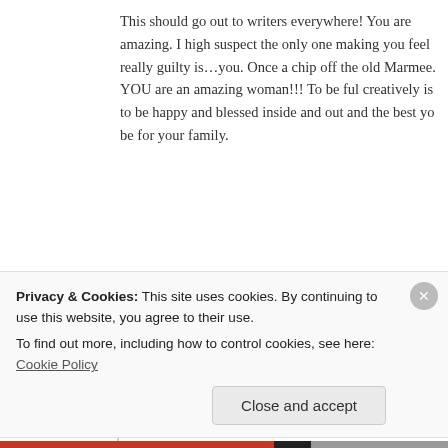This should go out to writers everywhere! You are amazing. I high suspect the only one making you feel really guilty is…you. Once a chip off the old Marmee. YOU are an amazing woman!!! To be ful creatively is to be happy and blessed inside and out and the best yo be for your family.
Writer's Guilt | There is always one more story to be told...
November 1st, 2013 at 1:03 pm
[…] Writer's Guilt. […]
Tom
November 1st, 2013 at 10:04 pm
Privacy & Cookies: This site uses cookies. By continuing to use this website, you agree to their use.
To find out more, including how to control cookies, see here: Cookie Policy
Close and accept